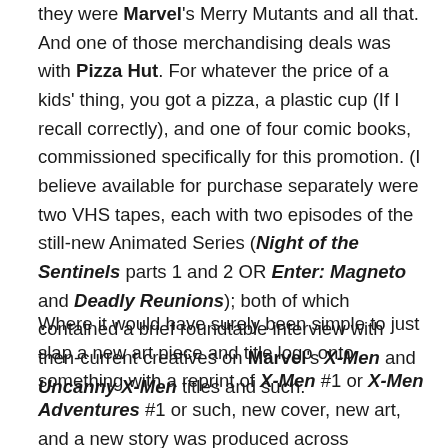they were Marvel's Merry Mutants and all that. And one of those merchandising deals was with Pizza Hut. For whatever the price of a kids' thing, you got a pizza, a plastic cup (If I recall correctly), and one of four comic books, commissioned specifically for this promotion. (I believe available for purchase separately were two VHS tapes, each with two episodes of the still-new Animated Series (Night of the Sentinels parts 1 and 2 OR Enter: Magneto and Deadly Reunions); both of which contained a brief roundtable interview with then-current creatives on Marvel's X-Men and Uncanny X-Men titles and such.
Where it would have surely been simple to just slap a new art piece and title logo onto something with a reprint of X-Men #1 or X-Men Adventures #1 or such, new cover, new art, and a new story was produced across essentially a 4-issue mini-series; an all-new original adventure exclusively